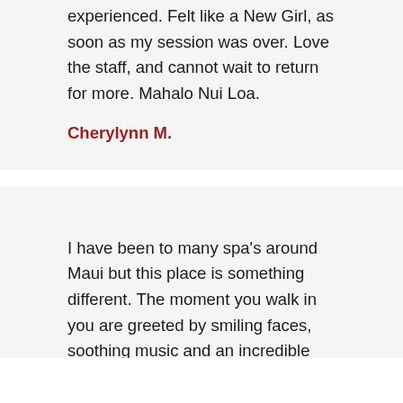experienced. Felt like a New Girl, as soon as my session was over. Love the staff, and cannot wait to return for more. Mahalo Nui Loa.
Cherylynn M.
I have been to many spa's around Maui but this place is something different. The moment you walk in you are greeted by smiling faces, soothing music and an incredible ocean view. Rebecca was my massage therapist and I don't have